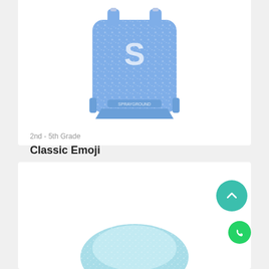[Figure (photo): Blue speckled backpack with white logo on front, top view showing straps]
2nd - 5th Grade
Classic Emoji
$3,300.00
[Figure (photo): Light blue/mint speckled item partially visible at bottom of page]